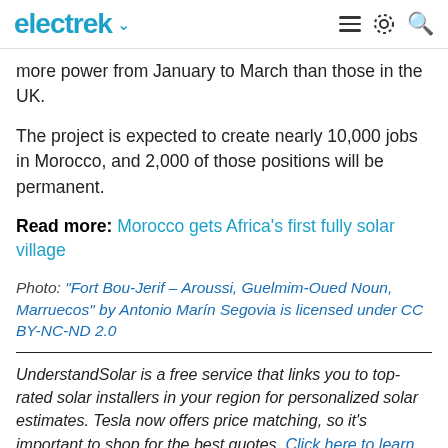electrek
more power from January to March than those in the UK.
The project is expected to create nearly 10,000 jobs in Morocco, and 2,000 of those positions will be permanent.
Read more: Morocco gets Africa's first fully solar village
Photo: “Fort Bou-Jerif – Aroussi, Guelmim-Oued Noun, Marruecos” by Antonio Marín Segovia is licensed under CC BY-NC-ND 2.0
UnderstandSolar is a free service that links you to top-rated solar installers in your region for personalized solar estimates. Tesla now offers price matching, so it’s important to shop for the best quotes. Click here to learn more and get your quotes. — *ad.
Add Electrek to your Google News feed.